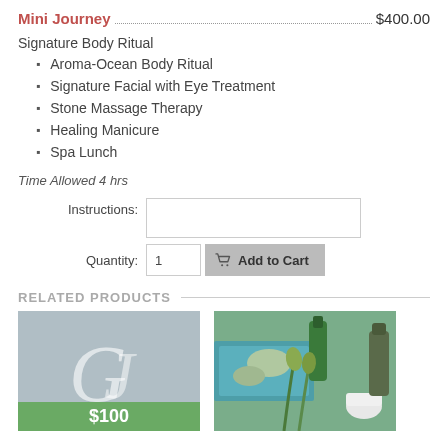Mini Journey $400.00
Signature Body Ritual
Aroma-Ocean Body Ritual
Signature Facial with Eye Treatment
Stone Massage Therapy
Healing Manicure
Spa Lunch
Time Allowed 4 hrs
Instructions: [text input field]
Quantity: 1 [Add to Cart button]
RELATED PRODUCTS
[Figure (photo): GJ logo card with $100 price badge on green/grey background]
[Figure (photo): Spa products photo with green tulips, stones, towels and bottles]